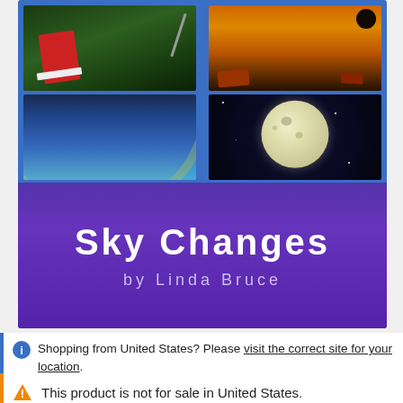[Figure (photo): Book cover of 'Sky Changes' by Linda Bruce. Blue border frame with a 2x2 grid of photos: top-left shows a person lying on grass at night with a telescope, bottom-left shows a rainbow arc over a blue sky, top-right shows a rocky orange/red landscape (Mars-like), bottom-right shows a full moon against a dark starry sky. Below the photos is a purple band with the title 'Sky Changes' in bold white text and 'by Linda Bruce' in lighter text.]
Sky Changes
by Linda Bruce
Shopping from United States? Please visit the correct site for your location.
This product is not for sale in United States.